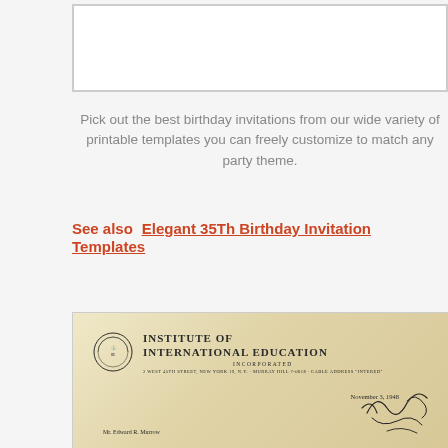[Figure (other): White rectangular image box with border, appears to be a placeholder or cropped image area]
Pick out the best birthday invitations from our wide variety of printable templates you can freely customize to match any party theme.
See also  Elegant 35Th Birthday Invitation Templates
[Figure (photo): Photograph of an old letter from the Institute of International Education, Incorporated. Address: 2 West 45th Street, New York 19, N.Y. - Murray Hill 7-0618 - Cable Address 'Intered'. Dated November 3, 1948, addressed to Mr. Edward R. Murrow, with a handwritten signature.]